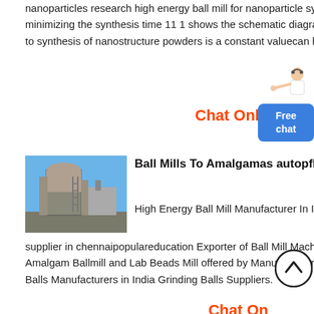nanoparticles research high energy ball mill for nanoparticle synthesis suppliersa novel technology for minimizing the synthesis time 11 1 shows the schematic diagram of the planetary ball mill and required to synthesis of nanostructure powders is a constant valuecan help the manufacturer and
Chat Online
[Figure (photo): Industrial ball mill machinery photo]
Ball Mills To Amalgamas autopflege
High Energy Ball Mill Manufacturer In India Ball mill supplier in chennaipopulareducation Exporter of Ball Mill MachineBall Pebble Mills Continuous Ball Mills Amalgam Ballmill and Lab Beads Mill offered by Manu Enterprises Chennai Chennai Read More Grinding Balls Manufacturers in India Grinding Balls Suppliers.
Chat Online